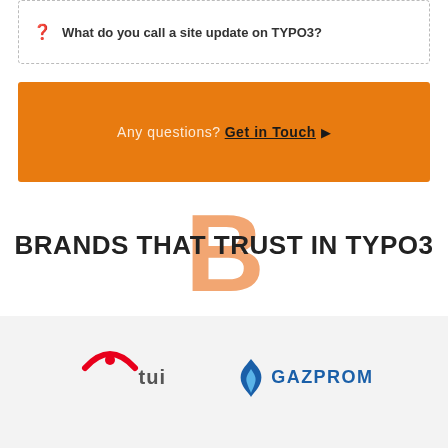❓ What do you call a site update on TYPO3?
Any questions? Get in Touch ▶
BRANDS THAT TRUST IN TYPO3
[Figure (logo): TUI logo — red smile icon with 'TUI' wordmark]
[Figure (logo): Gazprom logo — blue flame icon with 'GAZPROM' wordmark in blue]